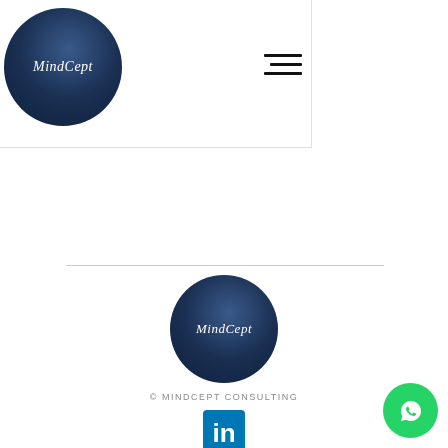[Figure (logo): MindCept logo: dark navy blue circle with 'MindCept' text in white italic serif font, displayed in header bar]
[Figure (other): Hamburger menu icon (three horizontal lines) in top right of header bar]
[Figure (logo): MindCept logo: dark navy blue circle with 'MindCept' text in white italic serif font, displayed in footer area]
© MINDCEPT CONSULTING
[Figure (logo): LinkedIn social media icon button (blue square with white 'in' text)]
[Figure (other): WhatsApp floating action button (green circle with white WhatsApp icon)]